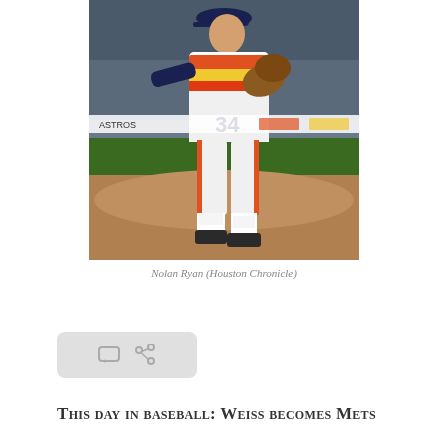[Figure (photo): Nolan Ryan pitching in Houston Astros rainbow uniform, number 34, on the mound in mid-delivery]
Nolan Ryan (Houston Chronicle)
[Figure (other): Social media share/comment button bar with comment and share icons]
This day in baseball: Weiss becomes Mets